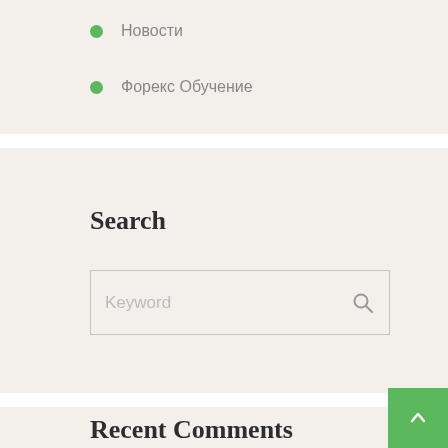Новости
Форекс Обучение
Search
Keyword
Recent Comments